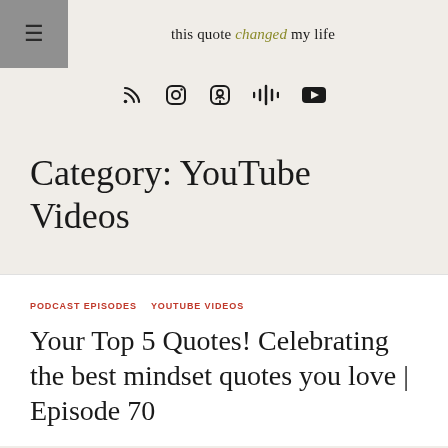this quote changed my life
[Figure (infographic): Row of 5 social media icons: RSS feed, Instagram, Podcast/Apple Podcasts, Google Podcasts, YouTube]
Category: YouTube Videos
PODCAST EPISODES   YOUTUBE VIDEOS
Your Top 5 Quotes! Celebrating the best mindset quotes you love | Episode 70